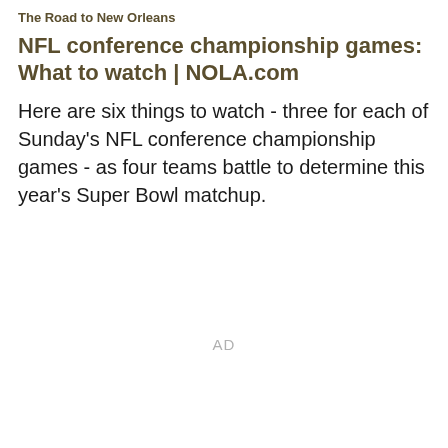The Road to New Orleans
NFL conference championship games: What to watch | NOLA.com
Here are six things to watch - three for each of Sunday's NFL conference championship games - as four teams battle to determine this year's Super Bowl matchup.
AD